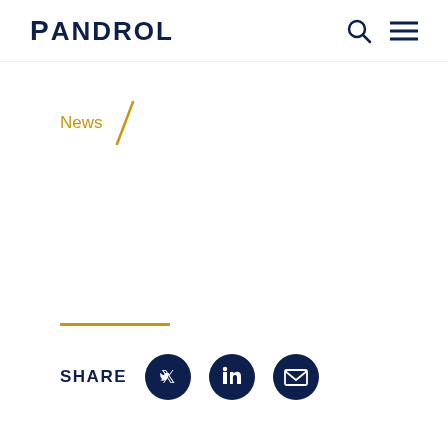PANDROL
News /
[Figure (other): Social share section with a horizontal gold divider line above, SHARE label and three circular dark navy icons for Twitter, LinkedIn, and Email]
SHARE